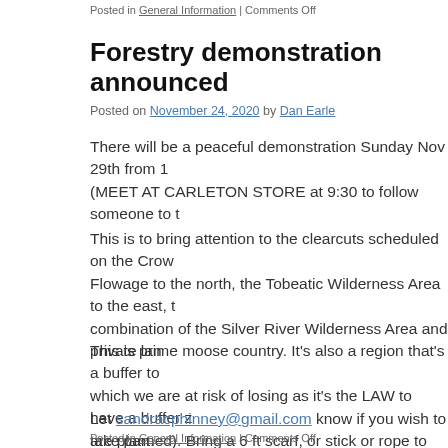Posted in General Information | Comments Off
Forestry demonstration announced
Posted on November 24, 2020 by Dan Earle
There will be a peaceful demonstration Sunday Nov 29th from 1 (MEET AT CARLETON STORE at 9:30 to follow someone to t
This is to bring attention to the clearcuts scheduled on the Crow Flowage to the north, the Tobeatic Wilderness Area to the east, t combination of the Silver River Wilderness Area and private lan
This is prime moose country. It’s also a region that’s a buffer to which we are at risk of losing as it’s the LAW to have a buffer z are planned). Bring a 6 ft scarf, or stick or rope to help form a h
Let sandracphinney@gmail.com know if you wish to take part.
Posted in General Information | Comments Off